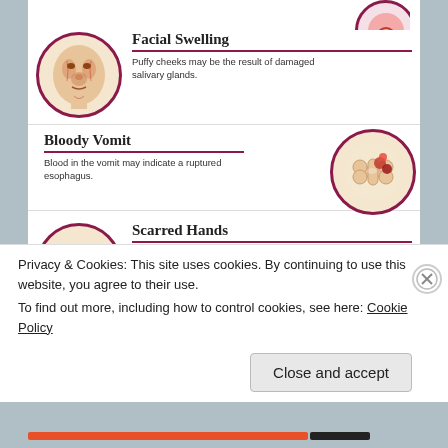[Figure (infographic): Medical infographic showing symptoms of eating disorders. Contains sections for Facial Swelling, Bloody Vomit, Scarred Hands, and Hemorrhoids, each with a circular illustration and descriptive text.]
Privacy & Cookies: This site uses cookies. By continuing to use this website, you agree to their use.
To find out more, including how to control cookies, see here: Cookie Policy
Close and accept